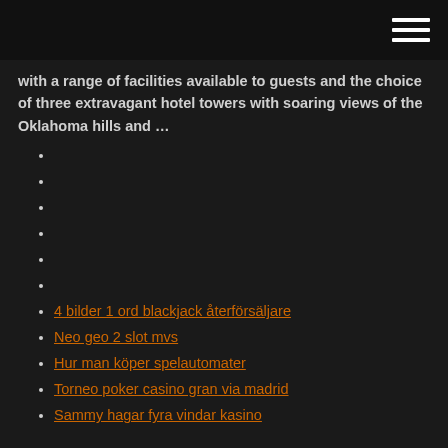[hamburger menu icon]
with a range of facilities available to guests and the choice of three extravagant hotel towers with soaring views of the Oklahoma hills and …
4 bilder 1 ord blackjack återförsäljare
Neo geo 2 slot mvs
Hur man köper spelautomater
Torneo poker casino gran via madrid
Sammy hagar fyra vindar kasino